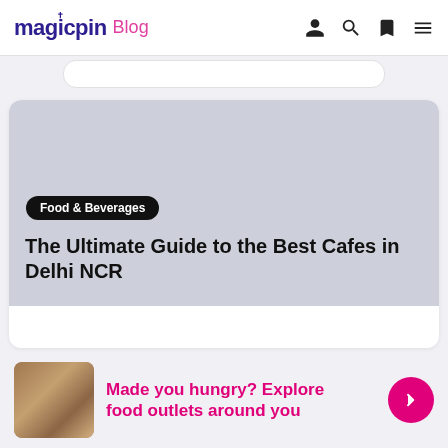magicpin Blog
[Figure (screenshot): Placeholder image area (grey rectangle) for article thumbnail]
Food & Beverages
The Ultimate Guide to the Best Cafes in Delhi NCR
Made you hungry? Explore food outlets around you